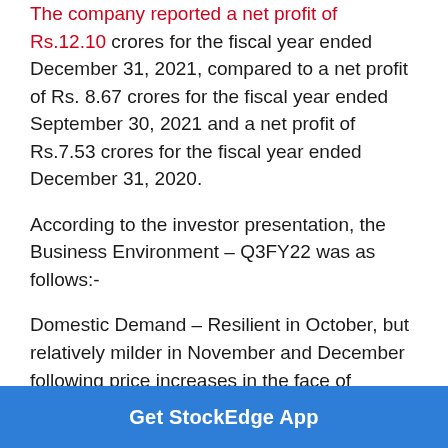The company reported a net profit of Rs.12.10 crores for the fiscal year ended December 31, 2021, compared to a net profit of Rs. 8.67 crores for the fiscal year ended September 30, 2021 and a net profit of Rs.7.53 crores for the fiscal year ended December 31, 2020.
According to the investor presentation, the Business Environment – Q3FY22 was as follows:-
Domestic Demand – Resilient in October, but relatively milder in November and December following price increases in the face of spiralling increases in gas and other input costs.
Get StockEdge App